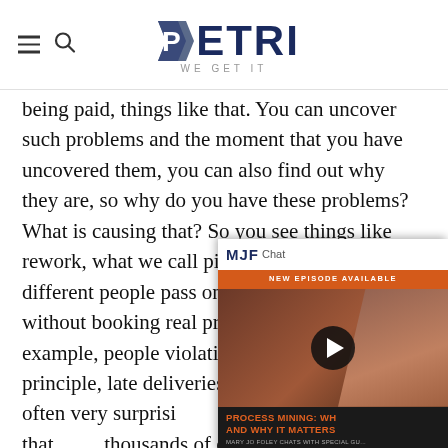PETRI WE GET IT
being paid, things like that. You can uncover such problems and the moment that you have uncovered them, you can also find out why they are, so why do you have these problems? What is causing that? So you see things like rework, what we call ping pong behavior, different people pass on work to each other without booking real progress. This is for example, people violating the four eyes principle, late deliveries, et cete... are often very surprisi... you can uncover that... thousands of organiza... are saving a lot of mo... their customers much...
[Figure (screenshot): MJF Chat promotional card overlay: New Episode Available - Process Mining: Why and Why It Matters, with Wil Van Der Aalst, Chief Scientist, Celonis. Cast upcoming on March 1st.]